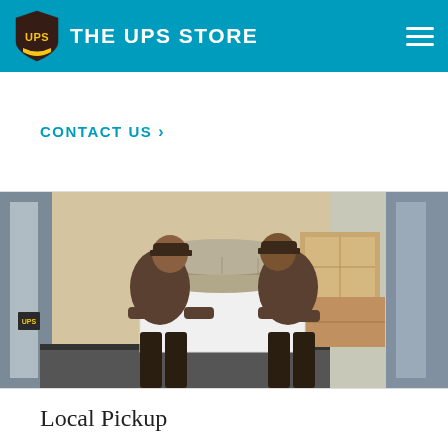THE UPS STORE
CONTACT US >
[Figure (photo): Two UPS delivery workers in brown uniforms loading or unloading a large white item wrapped with a rolled rug into the back of a UPS delivery van. Cardboard boxes are visible inside the van.]
Local Pickup